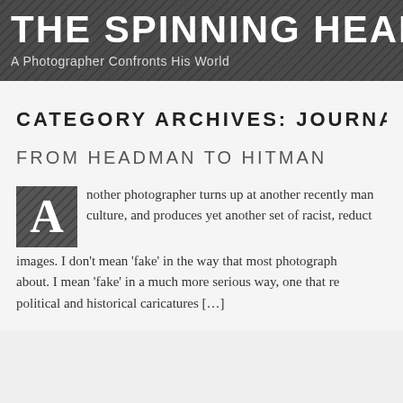THE SPINNING HEAD
A Photographer Confronts His World
CATEGORY ARCHIVES: JOURNA
FROM HEADMAN TO HITMAN
Another photographer turns up at another recently man culture, and produces yet another set of racist, reduct images. I don't mean 'fake' in the way that most photograph about. I mean 'fake' in a much more serious way, one that re political and historical caricatures […]